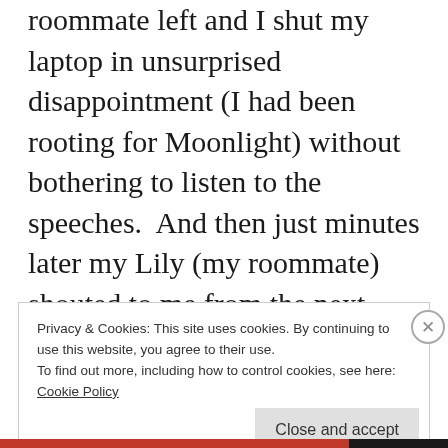roommate left and I shut my laptop in unsurprised disappointment (I had been rooting for Moonlight) without bothering to listen to the speeches. And then just minutes later my Lily (my roommate) shouted to me from the next room that IT WAS A MISTAKE AND MOONLIGHT WON?! I think I may have whispered “Holy Shit” to myself a few times in bed in the dark before drifting off in a deep sleep.
Privacy & Cookies: This site uses cookies. By continuing to use this website, you agree to their use.
To find out more, including how to control cookies, see here:
Cookie Policy